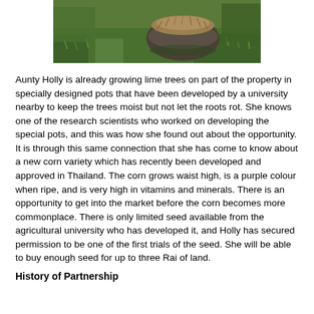[Figure (photo): Outdoor photo showing a large round pot or container with dried grass/straw on top, surrounded by lush green grass and vegetation.]
Aunty Holly is already growing lime trees on part of the property in specially designed pots that have been developed by a university nearby to keep the trees moist but not let the roots rot. She knows one of the research scientists who worked on developing the special pots, and this was how she found out about the opportunity. It is through this same connection that she has come to know about a new corn variety which has recently been developed and approved in Thailand. The corn grows waist high, is a purple colour when ripe, and is very high in vitamins and minerals. There is an opportunity to get into the market before the corn becomes more commonplace. There is only limited seed available from the agricultural university who has developed it, and Holly has secured permission to be one of the first trials of the seed. She will be able to buy enough seed for up to three Rai of land.
History of Partnership